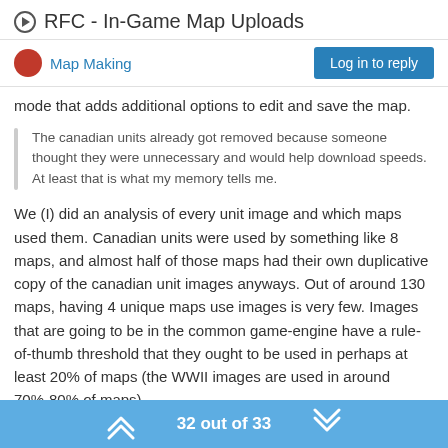RFC - In-Game Map Uploads
Map Making
mode that adds additional options to edit and save the map.
The canadian units already got removed because someone thought they were unnecessary and would help download speeds. At least that is what my memory tells me.
We (I) did an analysis of every unit image and which maps used them. Canadian units were used by something like 8 maps, and almost half of those maps had their own duplicative copy of the canadian unit images anyways. Out of around 130 maps, having 4 unique maps use images is very few. Images that are going to be in the common game-engine have a rule-of-thumb threshold that they ought to be used in perhaps at least 20% of maps (the WWII images are used in around 70%-80% of maps).
32 out of 33